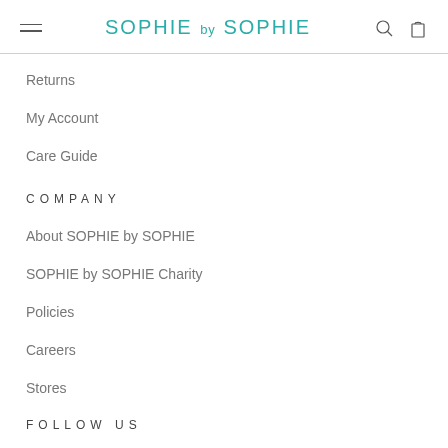SOPHIE by SOPHIE
Returns
My Account
Care Guide
COMPANY
About SOPHIE by SOPHIE
SOPHIE by SOPHIE Charity
Policies
Careers
Stores
FOLLOW US